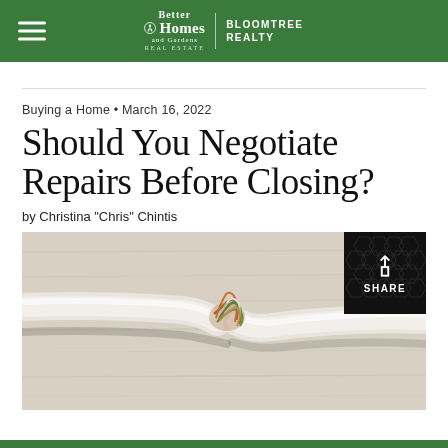Better Homes and Gardens Real Estate | BLOOMTREE REALTY
Buying a Home • March 16, 2022
Should You Negotiate Repairs Before Closing?
by Christina "Chris" Chintis
[Figure (photo): Close-up photo of a frayed electrical wire spliced together, lying on a white wooden surface. Colorful copper wires are exposed and twisted together at the break point.]